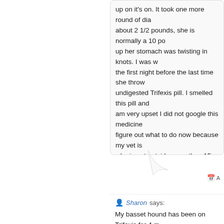up on it's on. It took one more round of dia... about 2 1/2 pounds, she is normally a 10 po... up her stomach was twisting in knots. I was w... the first night before the last time she throw... undigested Trifexis pill. I smelled this pill and... am very upset I did not google this medicine... figure out what to do now because my vet is... who is not outside more than 15 minutes on... risk in trying to find a heart worm pill that w...
Sharon says:
My basset hound has been on Trifexis for 4 m... not no longer give him Trifexis. My hound do... lethargic, loses his appetite and has been itch... the company they provided a case # and sai... tomorrow and will get something else. This is